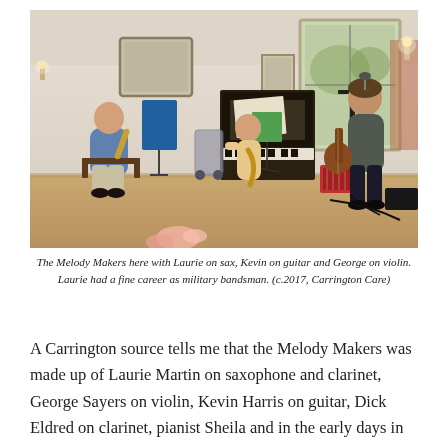[Figure (photo): Indoor photo of three elderly musicians performing in a bright room. On the left, a man sits playing a wind instrument with a blue music stand. In the center, a person plays saxophone near a piano and music stand. On the right, a tall man stands playing guitar at a microphone. A piano is visible in the background.]
The Melody Makers here with Laurie on sax, Kevin on guitar and George on violin. Laurie had a fine career as military bandsman. (c.2017, Carrington Care)
A Carrington source tells me that the Melody Makers was made up of Laurie Martin on saxophone and clarinet, George Sayers on violin, Kevin Harris on guitar, Dick Eldred on clarinet, pianist Sheila and in the early days in